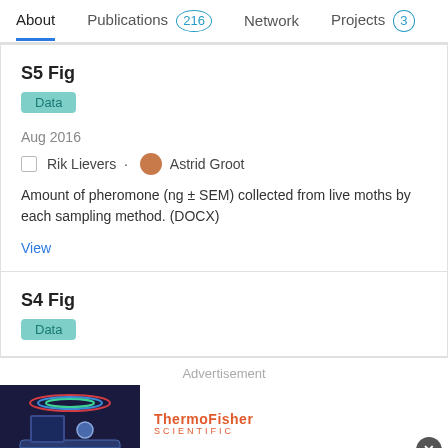About | Publications 216 | Network | Projects 3
S5 Fig
Data
Aug 2016
Rik Lievers · Astrid Groot
Amount of pheromone (ng ± SEM) collected from live moths by each sampling method. (DOCX)
View
S4 Fig
Data
Advertisement
[Figure (photo): Thermo Fisher Scientific advertisement showing KingFisher Duo Prime System instrument]
KingFisher Duo Prime System